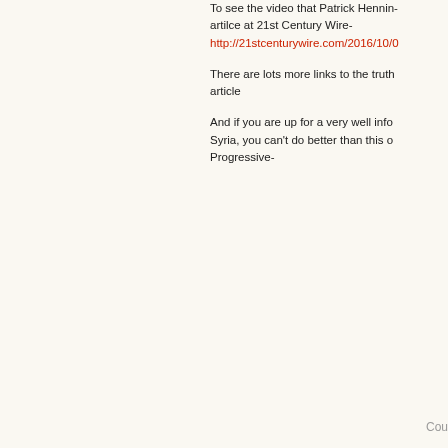To see the video that Patrick Hennin- artilce at 21st Century Wire- http://21stcenturywire.com/2016/10/0
There are lots more links to the truth article
And if you are up for a very well infor Syria, you can't do better than this o Progressive-
Cou